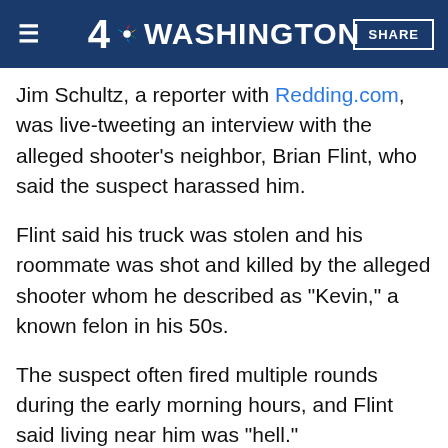4 NBC WASHINGTON  SHARE
Jim Schultz, a reporter with Redding.com, was live-tweeting an interview with the alleged shooter's neighbor, Brian Flint, who said the suspect harassed him.
Flint said his truck was stolen and his roommate was shot and killed by the alleged shooter whom he described as "Kevin," a known felon in his 50s.
The suspect often fired multiple rounds during the early morning hours, and Flint said living near him was "hell."
"The crazy thing is the neighbor has been shooting a lot of bullets lately – hundreds of rounds, large magazines," Flint said. "We made it (known) that this guy is crazy and he's been threatening us and everything like that."